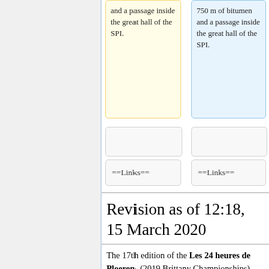and a passage inside the great hall of the SPI.
750 m of bitumen and a passage inside the great hall of the SPI.
==Links==
==Links==
Revision as of 12:18, 15 March 2020
The 17th edition of the Les 24 heures de Ploeren, (2019 Brittany Championships) and the 12th edition of the 12 hour and 6 hour took place on a certified 1000-meter loop course running and walking around the Pierre-Le Douarin football stadium. The course consists of 200 m of stabilized terrain, 750 m of bitumen and a passage inside